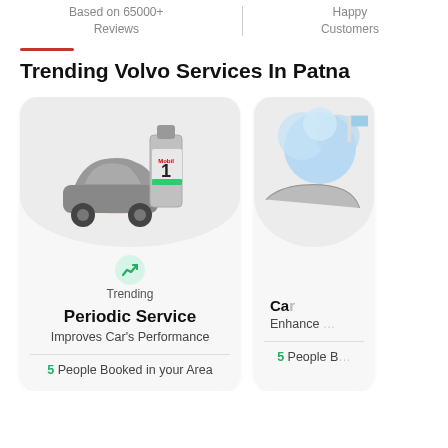Based on 65000+ Reviews
Happy Customers
Trending Volvo Services In Patna
[Figure (illustration): Card showing Mobil 1 oil bottle and a grey sedan car on a light grey rounded background. Trending badge with green upward arrow icon. Title: Periodic Service. Subtitle: Improves Car's Performance. Footer: 5 People Booked in your Area.]
[Figure (illustration): Partially visible card showing a car wash sponge/foam on a light grey rounded background. Footer: 5 People B(ooked in your Area) - partially cut off.]